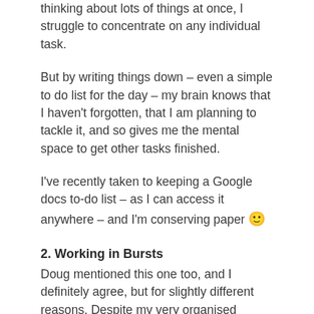thinking about lots of things at once, I struggle to concentrate on any individual task.
But by writing things down – even a simple to do list for the day – my brain knows that I haven't forgotten, that I am planning to tackle it, and so gives me the mental space to get other tasks finished.
I've recently taken to keeping a Google docs to-do list – as I can access it anywhere – and I'm conserving paper 🙂
2. Working in Bursts
Doug mentioned this one too, and I definitely agree, but for slightly different reasons. Despite my very organised approach to work I'm still terrible for procrastinating and getting distracted. I was recently introduced to the Pomodoro technique – working in 25 minute bursts with 5 minute breaks (and longer breaks